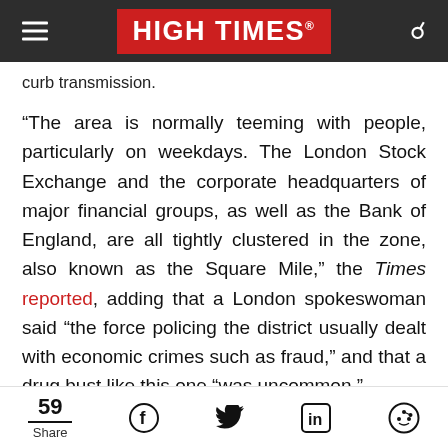HIGH TIMES
curb transmission.
“The area is normally teeming with people, particularly on weekdays. The London Stock Exchange and the corporate headquarters of major financial groups, as well as the Bank of England, are all tightly clustered in the zone, also known as the Square Mile,” the Times reported, adding that a London spokeswoman said “the force policing the district usually dealt with economic crimes such as fraud,” and that a drug bust like this one “was uncommon.”
59 Share [Facebook] [Twitter] [LinkedIn] [Reddit]